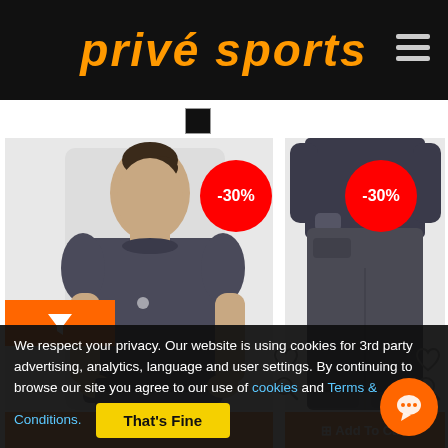[Figure (logo): Privé Sports logo in orange italic bold text on black header background with hamburger menu icon on the right]
[Figure (screenshot): E-commerce product listing page showing two athletic wear products, each with a -30% red circular discount badge, heart/wishlist icon, search icon, and orange Add To Cart button. Left product shows a woman in dark grey athletic top. Right product shows dark grey jogger pants. Color swatches (black; grey and pink) shown above the cards. Orange filter button on the left side.]
We respect your privacy. Our website is using cookies for 3rd party advertising, analytics, language and user settings. By continuing to browse our site you agree to our use of cookies and Terms & Conditions.
That's Fine